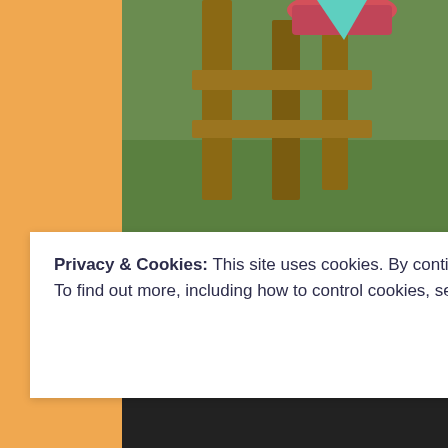[Figure (photo): Outdoor backyard scene showing a wooden fence/structure with green grass in background and what appears to be a colorful pink/teal playground element or bird feeder at the top.]
[Figure (photo): Outdoor backyard scene with a wooden picket fence, green grass, and a decorative birdhouse with a pink cylindrical body and teal conical roof. A small bird (wren or similar) is perched at the entrance hole of the birdhouse.]
Privacy & Cookies: This site uses cookies. By continuing to use this website, you agree to their use.
To find out more, including how to control cookies, see here: Cookie Policy
Close and accept